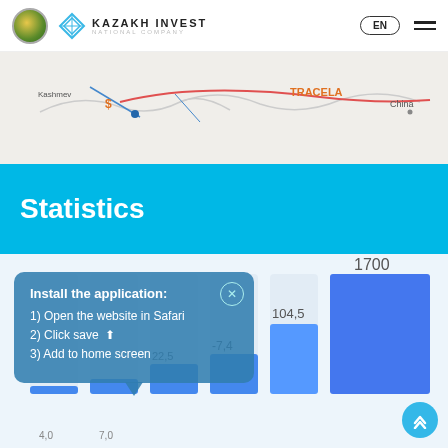KAZAKH INVEST NATIONAL COMPANY | EN
[Figure (map): Partial map showing TRACELA corridor route with labels 'Kashmev', 'China', route lines in red/blue]
Statistics
[Figure (bar-chart): Statistics]
Install the application:
1) Open the website in Safari
2) Click save
3) Add to home screen